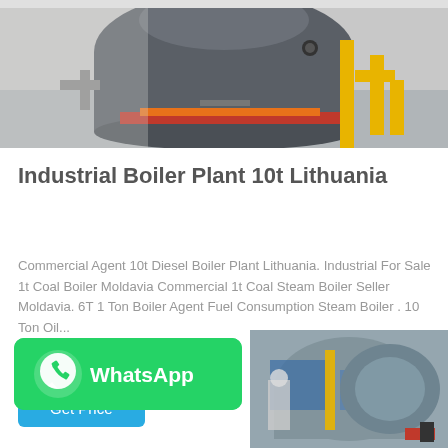[Figure (photo): Industrial boiler machinery — large grey tank with yellow pipes and tubes in a factory setting]
Industrial Boiler Plant 10t Lithuania
Commercial Agent 10t Diesel Boiler Plant Lithuania. Industrial For Sale 1t Coal Boiler Moldavia Commercial 1t Coal Steam Boiler Seller Moldavia. 6T 1 Ton Boiler Agent Fuel Consumption Steam Boiler . 10 Ton Oil...
Get Price
[Figure (logo): WhatsApp green button with WhatsApp icon and text 'WhatsApp']
[Figure (photo): Industrial boiler equipment photo — grey cylindrical boiler with worker and yellow pipes]